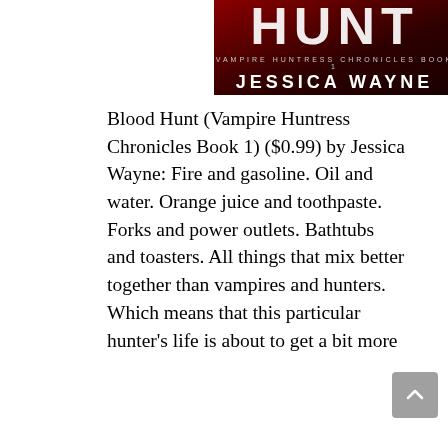[Figure (illustration): Book cover for 'Blood Hunt' (Vampire Huntress Chronicles Book 1) by Jessica Wayne. Dark red background with partial title text 'HUNT' visible at top, subtitle 'VAMPIRE HUNTRESS CHRONICLES BOOK 1' and author name 'JESSICA WAYNE' in white text.]
Blood Hunt (Vampire Huntress Chronicles Book 1) ($0.99) by Jessica Wayne: Fire and gasoline. Oil and water. Orange juice and toothpaste. Forks and power outlets. Bathtubs and toasters. All things that mix better together than vampires and hunters. Which means that this particular hunter's life is about to get a bit more